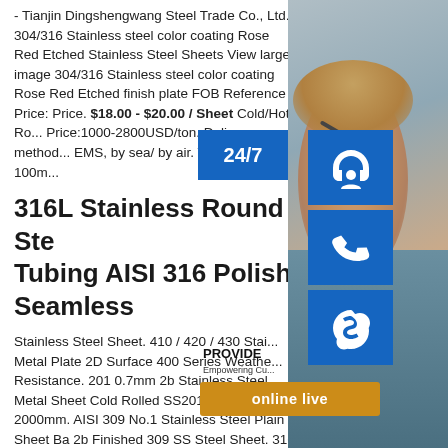- Tianjin Dingshengwang Steel Trade Co., Ltd. 304/316 Stainless steel color coating Rose Red Etched Stainless Steel Sheets View larger image 304/316 Stainless steel color coating Rose Red Etched finish plate FOB Reference Price: Price. $18.00 - $20.00 / Sheet Cold/Hot Ro... Price:1000-2800USD/ton. Delivery method... EMS, by sea/ by air. Thickness:0.15-100m...
316L Stainless Round Ste... Tubing AISI 316 Polish Seamless
Stainless Steel Sheet. 410 / 420 / 430 Stai... Metal Plate 2D Surface 400 Series Weathe... Resistance. 201 0.7mm 2b Stainless Steel Metal Sheet Cold Rolled SS201 1000mm-2000mm. AISI 309 No.1 Stainless Steel Plain Sheet Ba 2b Finished 309 SS Steel Sheet. 316 BA Finished Stainless Plain Sheet , AISI 316 Cold Rolled Stainless Steel Plate AISI 201/304/316/321/2205/2507 Stainless Steel Coil/Sheet AISI 201 Stainless Steel Coil/Sheet with PVC Coated Stainless steel is a product which not
[Figure (photo): Customer service representative with headset, alongside blue icon boxes for 24/7 support (headset icon), phone icon, and Skype icon, plus an orange 'online live' button and 'PROVIDE Empowering Cu...' text]